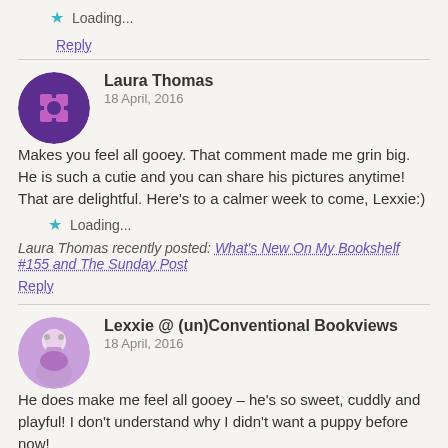Loading...
Reply
Laura Thomas
18 April, 2016
Makes you feel all gooey. That comment made me grin big. He is such a cutie and you can share his pictures anytime! That are delightful. Here's to a calmer week to come, Lexxie:)
Loading...
Laura Thomas recently posted: What's New On My Bookshelf #155 and The Sunday Post
Reply
Lexxie @ (un)Conventional Bookviews
18 April, 2016
He does make me feel all gooey – he's so sweet, cuddly and playful! I don't understand why I didn't want a puppy before now!